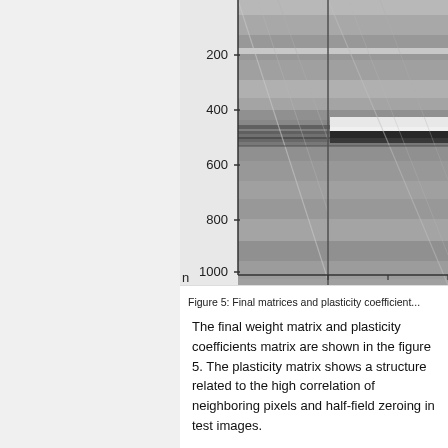[Figure (continuous-plot): Grayscale matrix visualization showing final weight matrix and plasticity coefficients matrix. Y-axis labeled with values 200, 400, 600, 800, 1000. The image shows horizontal banding patterns and diagonal structures characteristic of correlation matrices. The matrix is cropped on the right, showing only a portion of the full figure.]
Figure 5: Final matrices and plasticity coefficient...
The final weight matrix and plasticity coefficients matrix are shown in the figure 5. The plasticity matrix shows a structure related to the high correlation of neighboring pixels and half-field zeroing in test images.
The full plastic network is compared